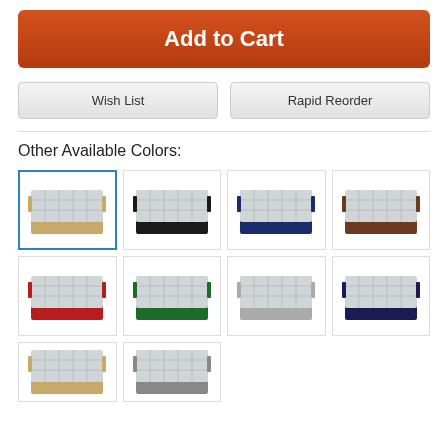Add to Cart
Wish List
Rapid Reorder
Other Available Colors:
[Figure (photo): Grid of 10 glass rack product images in various colors (beige/tan selected with blue border, black, navy blue, brown, red, green, gray, dark navy, plus 2 partial at bottom), showing multi-compartment glass racks]
[Figure (photo): Black glass rack]
[Figure (photo): Navy blue glass rack]
[Figure (photo): Brown glass rack]
[Figure (photo): Red glass rack]
[Figure (photo): Green glass rack]
[Figure (photo): Gray glass rack]
[Figure (photo): Dark navy glass rack]
[Figure (photo): Partial rack image row 3 item 1]
[Figure (photo): Partial rack image row 3 item 2]